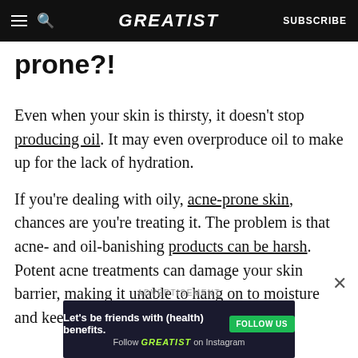GREATIST | SUBSCRIBE
prone?!
Even when your skin is thirsty, it doesn't stop producing oil. It may even overproduce oil to make up for the lack of hydration.
If you're dealing with oily, acne-prone skin, chances are you're treating it. The problem is that acne- and oil-banishing products can be harsh. Potent acne treatments can damage your skin barrier, making it unable to hang on to moisture and keep your skin hydrated.
[Figure (other): Advertisement banner: Let's be friends with (health) benefits. Follow GREATIST on Instagram. FOLLOW US button.]